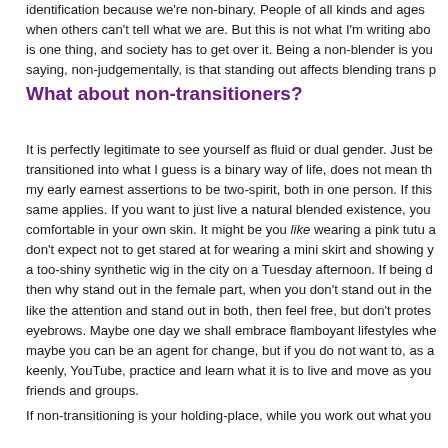identification because we're non-binary. People of all kinds and ages when others can't tell what we are. But this is not what I'm writing abo is one thing, and society has to get over it. Being a non-blender is you saying, non-judgementally, is that standing out affects blending trans p
What about non-transitioners?
It is perfectly legitimate to see yourself as fluid or dual gender. Just be transitioned into what I guess is a binary way of life, does not mean th my early earnest assertions to be two-spirit, both in one person. If this same applies. If you want to just live a natural blended existence, you comfortable in your own skin. It might be you like wearing a pink tutu a don't expect not to get stared at for wearing a mini skirt and showing y a too-shiny synthetic wig in the city on a Tuesday afternoon. If being d then why stand out in the female part, when you don't stand out in the like the attention and stand out in both, then feel free, but don't protes eyebrows. Maybe one day we shall embrace flamboyant lifestyles whe maybe you can be an agent for change, but if you do not want to, as a keenly, YouTube, practice and learn what it is to live and move as you friends and groups.
If non-transitioning is your holding-place, while you work out what you